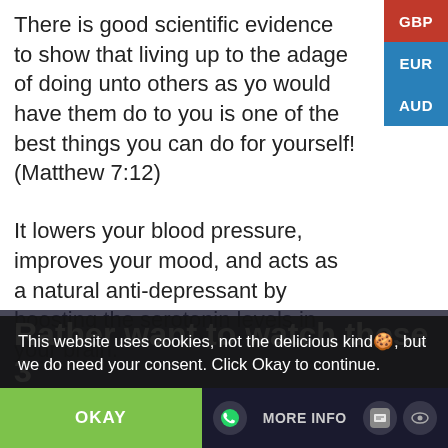There is good scientific evidence to show that living up to the adage of doing unto others as you would have them do to you is one of the best things you can do for yourself! (Matthew 7:12)
It lowers your blood pressure, improves your mood, and acts as a natural anti-depressant by boosting the serotonin levels in your brain.
But before we continue…
Rather want to watch these 3
This website uses cookies, not the delicious kind🍪, but we do need your consent. Click Okay to continue.
OKAY
MORE INFO